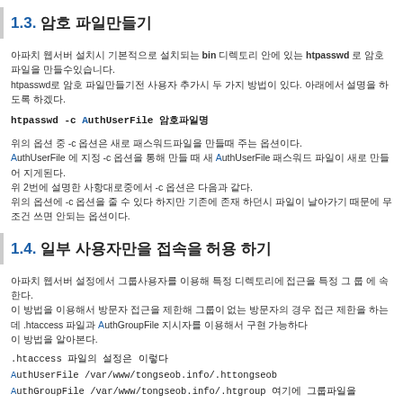1.3. 암호 파일만들기
아파치 웹서버 설치시 기본적으로 설치되는 bin 디렉토리 안에 있는 htpasswd 로 암호파일을 만들수있습니다. htpasswd로 암호 파일만들기전 사용자 추가시 두 가지 방법이 있다. 아래에서 설명을 하도록 하겠다.
htpasswd -c AuthUserFile 암호파일명
위의 옵션 중 -c 옵션은 새로 패스워드파일을 만들때 주는 옵션이다.
AuthUserFile 에 지정 -c 옵션을 통해 만들 때 새 AuthUserFile 패스워드 파일이 새로 만들어 지게된다.
위 2번에 설명한 사항대로중에서 -c 옵션은 다음과 같다.
위의 옵션에 -c 옵션을 줄 수 있다 하지만 기존에 존재 하던시 파일이 날아가기 때문에 무조건 쓰면 안되는 옵션이다.
1.4. 일부 사용자만을 접속을 허용 하기
아파치 웹서버 설정에서 그룹사용자를 이용해 특정 디렉토리에 접근을 특정 그 룹 에 속 한다.
이 방법을 이용해서 방문자 접근을 제한해 그룹이 없는 방문자의 경우 접근 제한을 하는데 .htaccess 파일과 AuthGroupFile 지시자를 이용해서 구현 가능하다 이 방법을 알아본다.
.htaccess 파일의 설정은 이렇다
AuthUserFile /var/www/tongseob.info/.httongseob
AuthGroupFile /var/www/tongseob.info/.htgroup 여기에 그룹파일을
# cat .htgroup
admin: aaaa bbbb